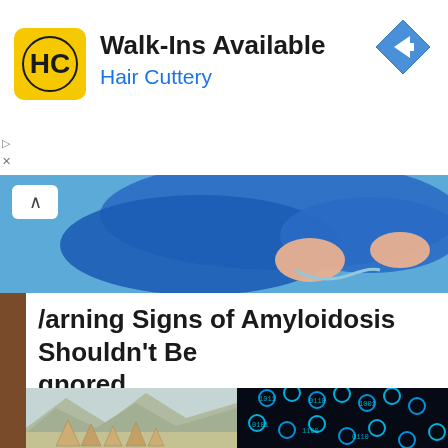[Figure (screenshot): Hair Cuttery advertisement banner with logo, 'Walk-Ins Available' text, 'Hair Cuttery' subtitle in blue, and a blue navigation arrow icon on the right]
[Figure (illustration): Blue background illustration showing a person in blue clothing with hands visible, partial view]
Warning Signs of Amyloidosis Shouldn't Be Ignored.
Amyloidosis | Sponsored
[Figure (photo): Left: watercolor illustration of a Native American village with tipis and mountain landscape. Right: digital art image of DNA double helix made of glowing blue spheres with binary code digits.]